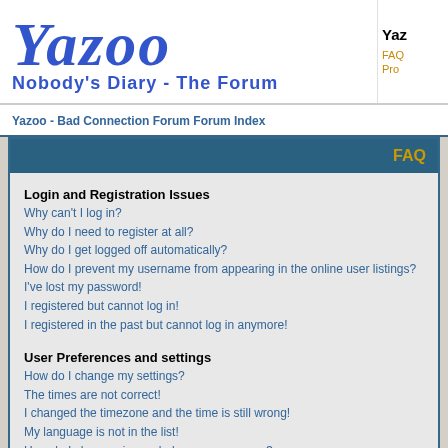Yazoo Nobody's Diary - The Forum
FAQ Pro
Yazoo - Bad Connection Forum Forum Index
FAQ
Login and Registration Issues
Why can't I log in?
Why do I need to register at all?
Why do I get logged off automatically?
How do I prevent my username from appearing in the online user listings?
I've lost my password!
I registered but cannot log in!
I registered in the past but cannot log in anymore!
User Preferences and settings
How do I change my settings?
The times are not correct!
I changed the timezone and the time is still wrong!
My language is not in the list!
How do I show an image below my username?
How do I change my rank?
When I click the email link for a user it asks me to log in.